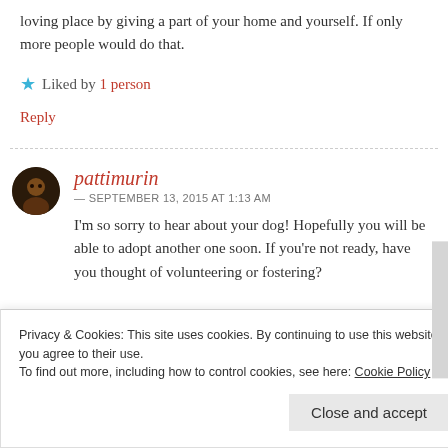loving place by giving a part of your home and yourself. If only more people would do that.
Liked by 1 person
Reply
pattimurin — SEPTEMBER 13, 2015 AT 1:13 AM
I'm so sorry to hear about your dog! Hopefully you will be able to adopt another one soon. If you're not ready, have you thought of volunteering or fostering?
Privacy & Cookies: This site uses cookies. By continuing to use this website, you agree to their use. To find out more, including how to control cookies, see here: Cookie Policy
Close and accept